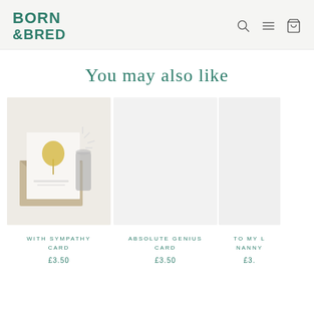BORN & BRED
You may also like
[Figure (photo): Product image of With Sympathy Card showing a card with golden tree design and envelope]
WITH SYMPATHY CARD
£3.50
[Figure (photo): Product image area for Absolute Genius Card (no image visible)]
ABSOLUTE GENIUS CARD
£3.50
[Figure (photo): Partial product image for To My L... Nanny card (cut off at right edge)]
TO MY L... NANNY
£3.